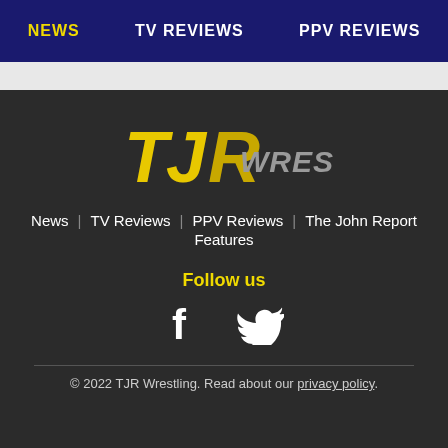NEWS  TV REVIEWS  PPV REVIEWS
[Figure (logo): TJR Wrestling logo with yellow TJR letters and grey italicized WRESTLING text]
News  |  TV Reviews  |  PPV Reviews  |  The John Report  |  Features
Follow us
[Figure (illustration): Facebook and Twitter social media icons in white]
© 2022 TJR Wrestling. Read about our privacy policy.